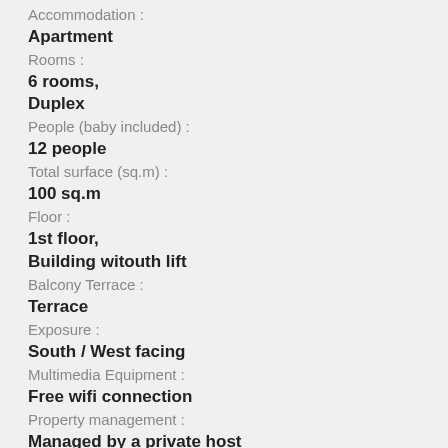Accommodation :
Apartment
Rooms :
6 rooms, Duplex
People (baby included) :
12 people
Total surface (sq.m) :
100 sq.m
Floor :
1st floor, Building witouth lift
Balcony Terrace :
Terrace
Exposure :
South / West facing
Multimedia Equipment :
Free wifi connection
Property management :
Managed by a private host
Ranking Prefectural :
NC